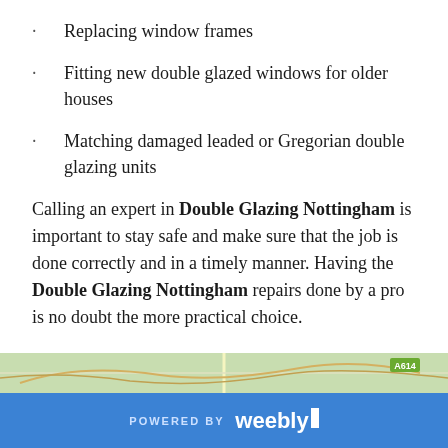Replacing window frames
Fitting new double glazed windows for older houses
Matching damaged leaded or Gregorian double glazing units
Calling an expert in Double Glazing Nottingham is important to stay safe and make sure that the job is done correctly and in a timely manner. Having the Double Glazing Nottingham repairs done by a pro is no doubt the more practical choice.
[Figure (map): Partial map image visible at the bottom of the page showing a road/area map]
POWERED BY weebly